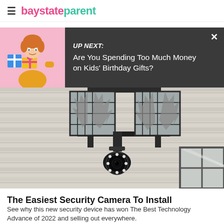baystateparent
UP NEXT: Are You Spending Too Much Money on Kids' Birthday Gifts?
[Figure (photo): Outdoor security camera with solar panel mounted on house siding, with a PTZ dome camera below the panel]
The Easiest Security Camera To Install
See why this new security device has won The Best Technology Advance of 2022 and selling out everywhere.